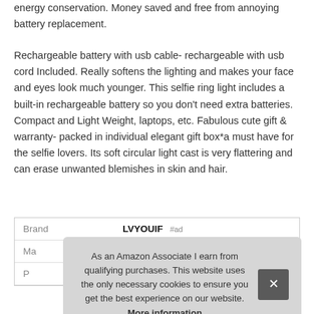energy conservation. Money saved and free from annoying battery replacement.
Rechargeable battery with usb cable- rechargeable with usb cord Included. Really softens the lighting and makes your face and eyes look much younger. This selfie ring light includes a built-in rechargeable battery so you don't need extra batteries. Compact and Light Weight, laptops, etc. Fabulous cute gift & warranty- packed in individual elegant gift box—a must have for the selfie lovers. Its soft circular light cast is very flattering and can erase unwanted blemishes in skin and hair.
|  |  |
| --- | --- |
| Brand | LVYOUIF #ad |
| Ma |  |
| P |  |
As an Amazon Associate I earn from qualifying purchases. This website uses the only necessary cookies to ensure you get the best experience on our website. More information